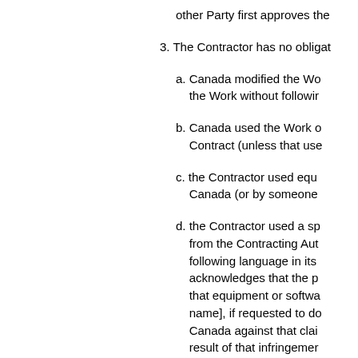other Party first approves the
3. The Contractor has no obligat
a. Canada modified the Wo the Work without followir
b. Canada used the Work o Contract (unless that use
c. the Contractor used equ Canada (or by someone
d. the Contractor used a sp from the Contracting Aut following language in its acknowledges that the p that equipment or softwa name], if requested to do Canada against that clai result of that infringemer if the Contractor does no
4. If anyone claims that, as a res the Contractor must immediat